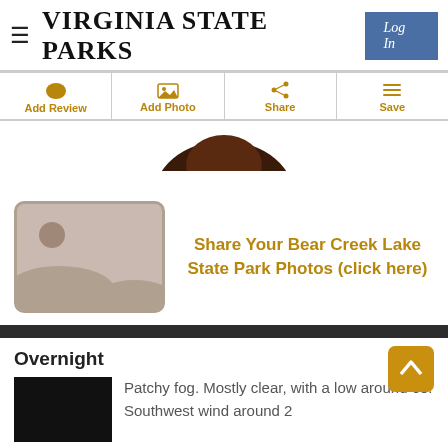VIRGINIA STATE PARKS
Log In
Add Review | Add Photo | Share | Save
[Figure (photo): Bottom portion of a dark image, likely a bear or animal silhouette against a white background]
[Figure (illustration): Placeholder image icon with sun and hills, with text: Share Your Bear Creek Lake State Park Photos (click here)]
Overnight
[Figure (photo): Dark nighttime photo thumbnail]
Patchy fog. Mostly clear, with a low around 68. Southwest wind around 2